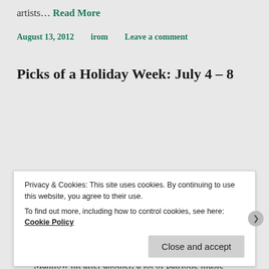artists… Read More
August 13, 2012   irom   Leave a comment
Picks of a Holiday Week: July 4 – 8
By Don Heckman Los Angeles – July 4. (Wed.)  Barry Manilow and July 4 Fireworks Spectacular.  A high energy celebration of the 4th.  With one soaring Manilow hit after another, a lot of patriotic music from the Hollywood Bowl Orchestra, conducted by Sarah Hicks.  And the usual spectacular pyrotechnics. Hollywood Bowl.   (323) 850-2040. – July… Read More
Privacy & Cookies: This site uses cookies. By continuing to use this website, you agree to their use.
To find out more, including how to control cookies, see here: Cookie Policy